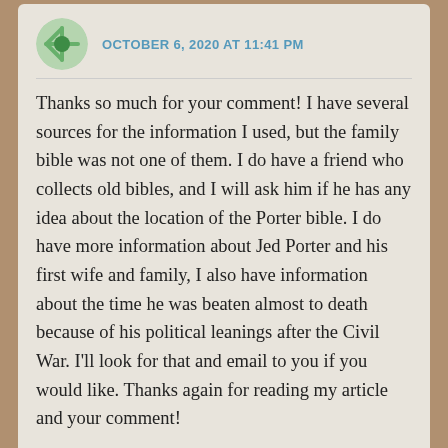OCTOBER 6, 2020 AT 11:41 PM
Thanks so much for your comment! I have several sources for the information I used, but the family bible was not one of them. I do have a friend who collects old bibles, and I will ask him if he has any idea about the location of the Porter bible. I do have more information about Jed Porter and his first wife and family, I also have information about the time he was beaten almost to death because of his political leanings after the Civil War. I'll look for that and email to you if you would like. Thanks again for reading my article and your comment!
Like
Reply
LISA PORTER TUCK says:
NOVEMBER 6, 2020 AT 8:36 PM